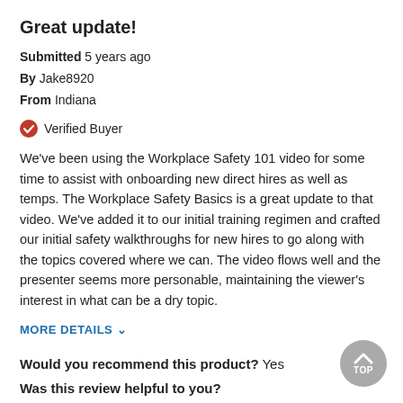Great update!
Submitted 5 years ago
By Jake8920
From Indiana
Verified Buyer
We've been using the Workplace Safety 101 video for some time to assist with onboarding new direct hires as well as temps. The Workplace Safety Basics is a great update to that video. We've added it to our initial training regimen and crafted our initial safety walkthroughs for new hires to go along with the topics covered where we can. The video flows well and the presenter seems more personable, maintaining the viewer's interest in what can be a dry topic.
MORE DETAILS
Would you recommend this product? Yes
Was this review helpful to you?